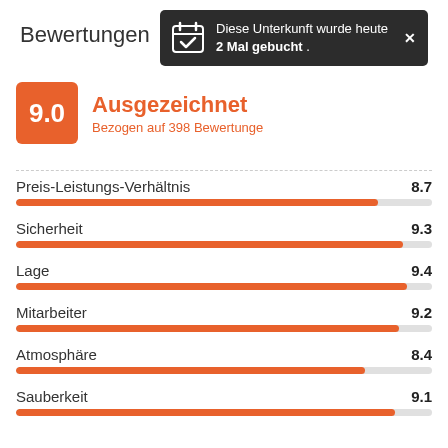Diese Unterkunft wurde heute 2 Mal gebucht .
Bewertungen
9.0 Ausgezeichnet
Bezogen auf 398 Bewertunge
| Kategorie | Bewertung |
| --- | --- |
| Preis-Leistungs-Verhältnis | 8.7 |
| Sicherheit | 9.3 |
| Lage | 9.4 |
| Mitarbeiter | 9.2 |
| Atmosphäre | 8.4 |
| Sauberkeit | 9.1 |